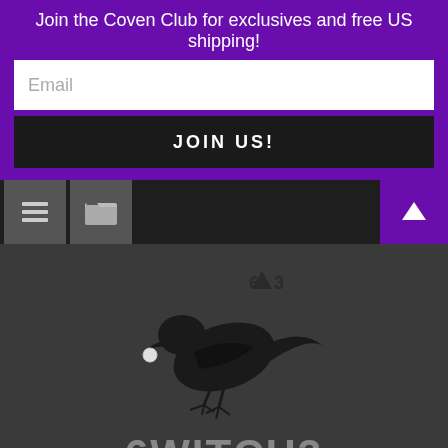Join the Coven Club for exclusives and free US shipping!
[Figure (screenshot): Email input field placeholder text 'Email' on white background]
JOIN US!
[Figure (screenshot): Navigation bar with hamburger menu icon, folder icon, and purple triangle/arrow button on right]
[Figure (logo): 6WITCH3 logo: black crow bird holding a white orb in its beak, with '6△3' text above, on dark gray background]
6WITCH3
lovely witchy things for lovely witchy things